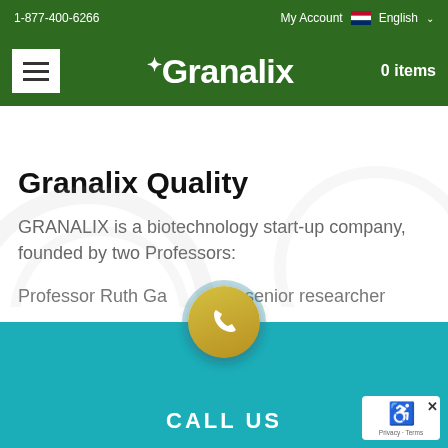1-877-400-6266   My Account  English
[Figure (logo): Granalix logo with hamburger menu icon and cart showing 0 items on dark green navigation bar]
Granalix Quality
GRANALIX is a biotechnology start-up company, founded by two Professors:
Professor Ruth Ga– – senior researcher
[Figure (other): Teal footer bar with CALL US text and yellow phone button overlay, plus reCAPTCHA badge]